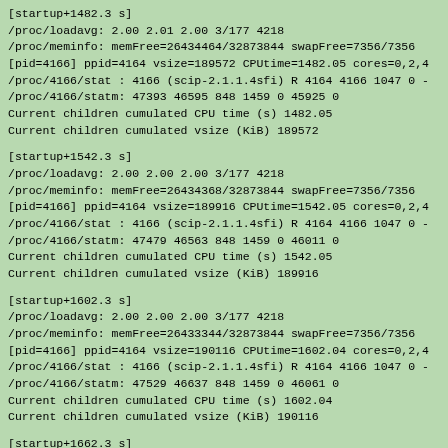[startup+1482.3 s]
/proc/loadavg: 2.00 2.01 2.00 3/177 4218
/proc/meminfo: memFree=26434464/32873844 swapFree=7356/7356
[pid=4166] ppid=4164 vsize=189572 CPUtime=1482.05 cores=0,2,4
/proc/4166/stat : 4166 (scip-2.1.1.4sfi) R 4164 4166 1047 0 -
/proc/4166/statm: 47393 46595 848 1459 0 45925 0
Current children cumulated CPU time (s) 1482.05
Current children cumulated vsize (KiB) 189572
[startup+1542.3 s]
/proc/loadavg: 2.00 2.00 2.00 3/177 4218
/proc/meminfo: memFree=26434368/32873844 swapFree=7356/7356
[pid=4166] ppid=4164 vsize=189916 CPUtime=1542.05 cores=0,2,4
/proc/4166/stat : 4166 (scip-2.1.1.4sfi) R 4164 4166 1047 0 -
/proc/4166/statm: 47479 46563 848 1459 0 46011 0
Current children cumulated CPU time (s) 1542.05
Current children cumulated vsize (KiB) 189916
[startup+1602.3 s]
/proc/loadavg: 2.00 2.00 2.00 3/177 4218
/proc/meminfo: memFree=26433344/32873844 swapFree=7356/7356
[pid=4166] ppid=4164 vsize=190116 CPUtime=1602.04 cores=0,2,4
/proc/4166/stat : 4166 (scip-2.1.1.4sfi) R 4164 4166 1047 0 -
/proc/4166/statm: 47529 46637 848 1459 0 46061 0
Current children cumulated CPU time (s) 1602.04
Current children cumulated vsize (KiB) 190116
[startup+1662.3 s]
/proc/loadavg: 2.00 2.00 2.00 3/177 4218
/proc/meminfo: memFree=26433620/32873844 swapFree=7356/7356
[pid=4166] ppid=4164 vsize=189748 CPUtime=1662.03 cores=0,2,4
/proc/4166/stat : 4166 (scip-2.1.1.4sfi) R 4164 4166 1047 0 -